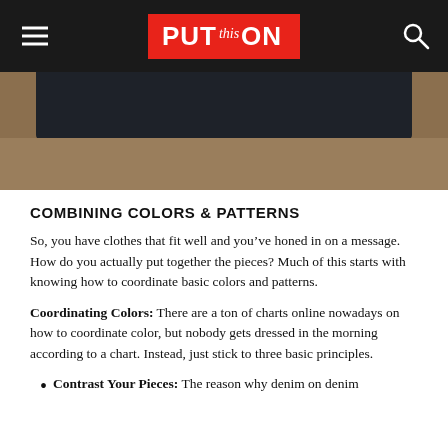PUT this ON
[Figure (photo): Folded dark denim jeans on a brown/tan surface, top portion of image cropped]
COMBINING COLORS & PATTERNS
So, you have clothes that fit well and you’ve honed in on a message. How do you actually put together the pieces? Much of this starts with knowing how to coordinate basic colors and patterns.
Coordinating Colors: There are a ton of charts online nowadays on how to coordinate color, but nobody gets dressed in the morning according to a chart. Instead, just stick to three basic principles.
Contrast Your Pieces: The reason why denim on denim...